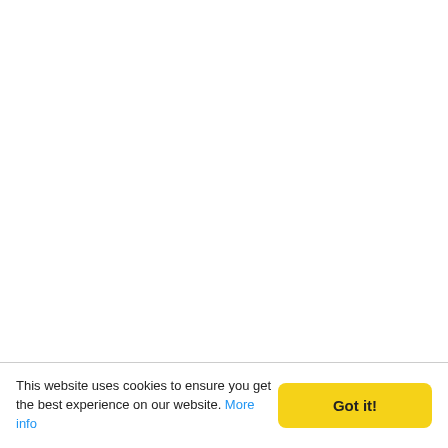This website uses cookies to ensure you get the best experience on our website. More info